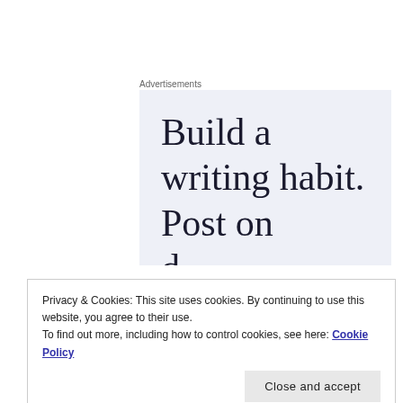Advertisements
[Figure (screenshot): Advertisement box with light blue-grey background showing partial text: 'Build a writing habit. Post on' with more text cut off below]
Not anymore. I was definitely wrong about that.
To highlight the effect of disconnection, let me ask you this:
Privacy & Cookies: This site uses cookies. By continuing to use this website, you agree to their use.
To find out more, including how to control cookies, see here: Cookie Policy
Close and accept
study had to say: